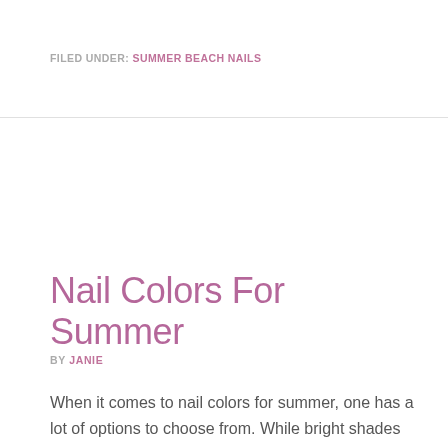FILED UNDER: SUMMER BEACH NAILS
Nail Colors For Summer
BY JANIE
When it comes to nail colors for summer, one has a lot of options to choose from. While bright shades were the standard in nail colors for just about every season, there are some new, bright nail colors that have really taken off in recent years. So what are your options? Here are some nail […]